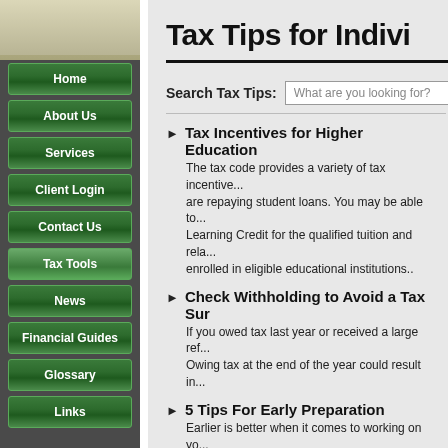Tax Tips for Indivi...
Search Tax Tips: What are you looking for?
Tax Incentives for Higher Education - The tax code provides a variety of tax incentives... are repaying student loans. You may be able to... Learning Credit for the qualified tuition and rela... enrolled in eligible educational institutions..
Check Withholding to Avoid a Tax Sur... - If you owed tax last year or received a large ref... Owing tax at the end of the year could result in...
5 Tips For Early Preparation - Earlier is better when it comes to working on yo... start on tax preparation. Not only do you avoid... refund..
Amended Returns - Oops! You've discovered an error after your tax... need to amend your return..
Ayuda en Espanol - If you need federal tax information, the IRS pro... Pages on the IRS.gov, tax topics, refund inform... assistance are all available in the Spanish-lang...